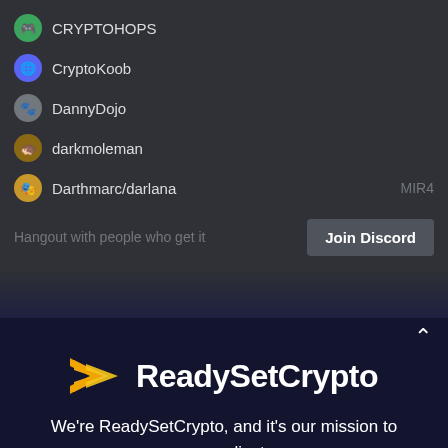CRYPTOHOPS
CryptoKoob
DannyDojo
darkmoleman
Darthmarc/darlana  MIR4
DF
DISBOARD  /help | 1,371,369 servers
doidz
Hangout with people who get it
Join Discord
[Figure (logo): ReadySetCrypto logo with orange arrow icon and white text]
We're ReadySetCrypto, and it's our mission to uncomplicate cryptocurrency.